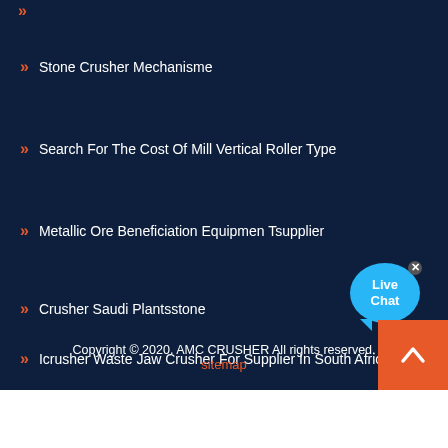»
» Stone Crusher Mechanisme
» Search For The Cost Of Mill Vertical Roller Type
» Metallic Ore Beneficiation Equipmen Tsupplier
» Crusher Saudi Plantsstone
» Icrusher Waste Jaw Crusher For Supplier In South Africa
[Figure (illustration): Live Chat bubble icon]
Copyright © 2020. AMC CRUSHER All rights reserved.
sitemap